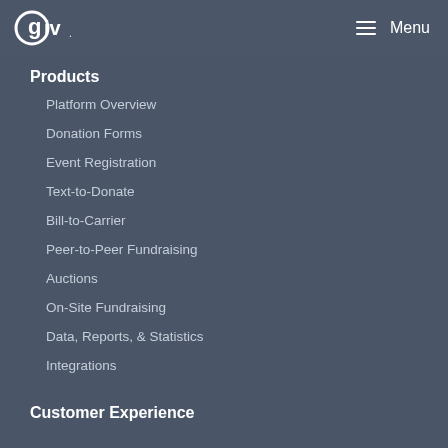Qgiv | Menu
Products
Platform Overview
Donation Forms
Event Registration
Text-to-Donate
Bill-to-Carrier
Peer-to-Peer Fundraising
Auctions
On-Site Fundraising
Data, Reports, & Statistics
Integrations
Customer Experience